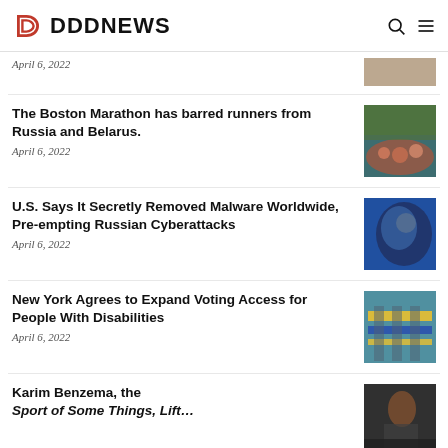DDDNEWS
April 6, 2022
The Boston Marathon has barred runners from Russia and Belarus.
April 6, 2022
U.S. Says It Secretly Removed Malware Worldwide, Pre-empting Russian Cyberattacks
April 6, 2022
New York Agrees to Expand Voting Access for People With Disabilities
April 6, 2022
Karim Benzema, the Sport of Some Things, Lift…